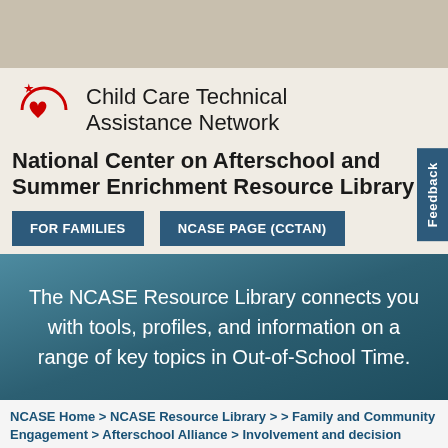[Figure (logo): Child Care Technical Assistance Network logo with red heart and star design]
Child Care Technical Assistance Network
National Center on Afterschool and Summer Enrichment Resource Library
FOR FAMILIES
NCASE PAGE (CCTAN)
Feedback
The NCASE Resource Library connects you with tools, profiles, and information on a range of key topics in Out-of-School Time.
NCASE Home > NCASE Resource Library > > Family and Community Engagement > Afterschool Alliance > Involvement and decision